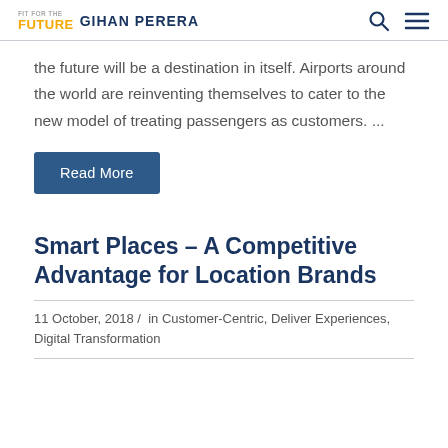Fit For The Future Gihan Perera
the future will be a destination in itself. Airports around the world are reinventing themselves to cater to the new model of treating passengers as customers. ...
Read More
Smart Places – A Competitive Advantage for Location Brands
11 October, 2018 /  in Customer-Centric, Deliver Experiences, Digital Transformation